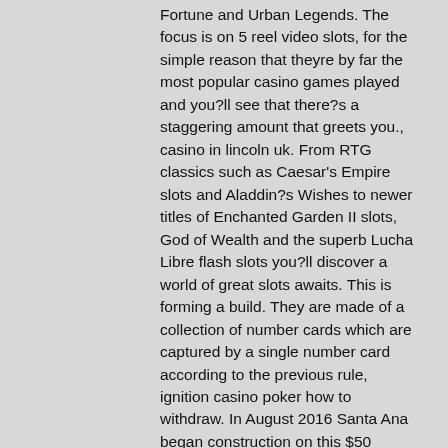Fortune and Urban Legends. The focus is on 5 reel video slots, for the simple reason that theyre by far the most popular casino games played and you?ll see that there?s a staggering amount that greets you., casino in lincoln uk. From RTG classics such as Caesar's Empire slots and Aladdin?s Wishes to newer titles of Enchanted Garden II slots, God of Wealth and the superb Lucha Libre flash slots you?ll discover a world of great slots awaits. This is forming a build. They are made of a collection of number cards which are captured by a single number card according to the previous rule, ignition casino poker how to withdraw. In August 2016 Santa Ana began construction on this $50 million hotel. It opened in July 2018, casino in lincoln uk.
Bitcoin casino royale digital code, the casino